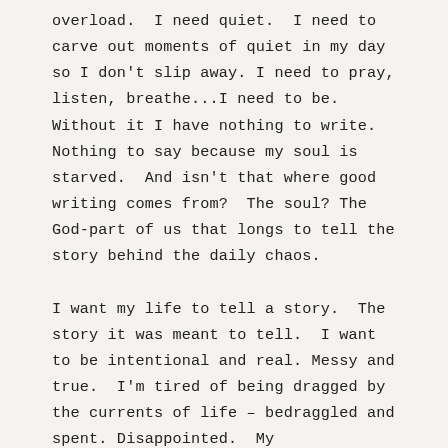overload.  I need quiet.  I need to carve out moments of quiet in my day so I don't slip away.  I need to pray, listen, breathe...I need to be.  Without it I have nothing to write.  Nothing to say because my soul is starved.  And isn't that where good writing comes from?  The soul?  The God-part of us that longs to tell the story behind the daily chaos.

I want my life to tell a story.  The story it was meant to tell.  I want to be intentional and real.  Messy and true.  I'm tired of being dragged by the currents of life – bedraggled and spent.  Disappointed.  My circumstances may not be conducive to writing, but I am not sure I am going to survive if I don't.  I know no other way